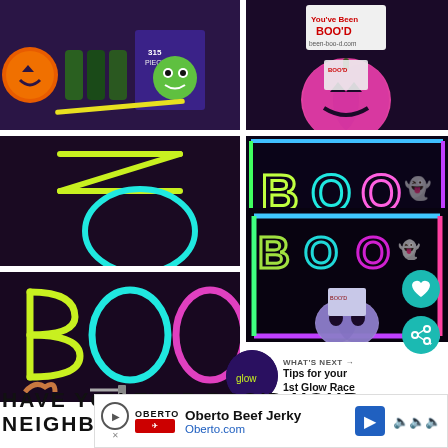[Figure (photo): Collage of 5 Halloween photos showing glow-in-the-dark stick 'BOO' letters spelling BOO on dark backgrounds, plus a pink jack-o-lantern pumpkin bucket with 'Been BOO'd' sign, and a finished BOO door display with glowing pumpkin decoration]
WHAT'S NEXT → Tips for your 1st Glow Race
HAVE YOU EVER BOO'D YOUR NEIGHBOR BEFORE?
[Figure (screenshot): Ad banner for Oberto Beef Jerky — Oberto.com]